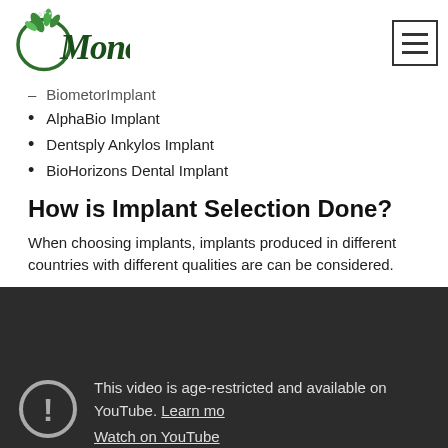[Figure (logo): Mono logo with green leaf design and cursive 'Mono' text]
BiometorImplant (partial, cut off at top)
AlphaBio Implant
Dentsply Ankylos Implant
BioHorizons Dental Implant
How is Implant Selection Done?
When choosing implants, implants produced in different countries with different qualities are can be considered.
[Figure (screenshot): YouTube video age-restricted warning screen showing exclamation mark icon with text 'This video is age-restricted and available on YouTube. Learn more' and 'Watch on YouTube' link]